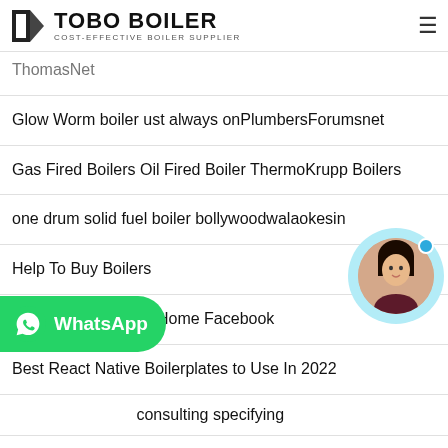TOBO BOILER - COST-EFFECTIVE BOILER SUPPLIER
ThomasNet
Glow Worm boiler ust always onPlumbersForumsnet
Gas Fired Boilers Oil Fired Boiler ThermoKrupp Boilers
one drum solid fuel boiler bollywoodwalaokesin
Help To Buy Boilers
A2Z Boiler Services Home Facebook
Best React Native Boilerplates to Use In 2022
consulting specifying
boiler induced fan bearing Industrial Boiler Supplier
BOILER OPTIMIZATION FOR MULTIPOLLUTANT